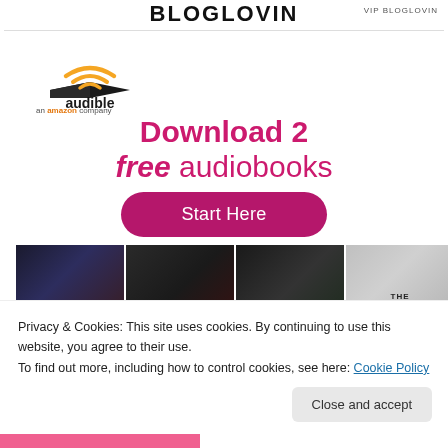BLOGLOVIN · VIP BLOGLOVIN
[Figure (logo): Audible an amazon company logo with orange/yellow wireless signal arc above open book]
Download 2 free audiobooks
Start Here
[Figure (illustration): Four audiobook covers: George R.R. Martin, Please (pink), a third title, and The Girl on the]
Privacy & Cookies: This site uses cookies. By continuing to use this website, you agree to their use.
To find out more, including how to control cookies, see here: Cookie Policy
Close and accept